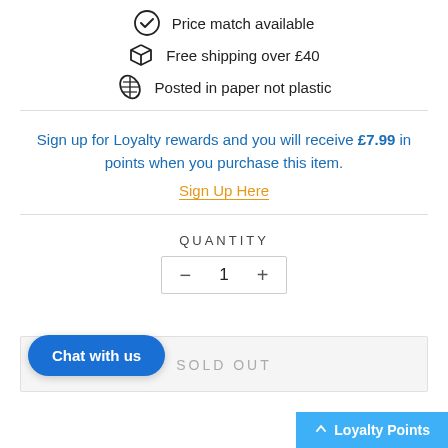Price match available
Free shipping over £40
Posted in paper not plastic
Sign up for Loyalty rewards and you will receive £7.99 in points when you purchase this item.
Sign Up Here
QUANTITY
1
SOLD OUT
Chat with us
Loyalty Points